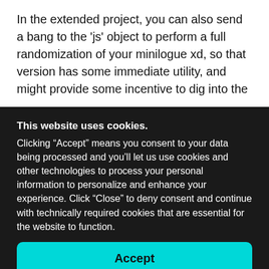In the extended project, you can also send a bang to the 'js' object to perform a full randomization of your minilogue xd, so that version has some immediate utility, and might provide some incentive to dig into the
This website uses cookies.
Clicking “Accept” means you consent to your data being processed and you’ll let us use cookies and other technologies to process your personal information to personalize and enhance your experience. Click “Close” to deny consent and continue with technically required cookies that are essential for the website to function.
Accept
Close
Privacy Policy